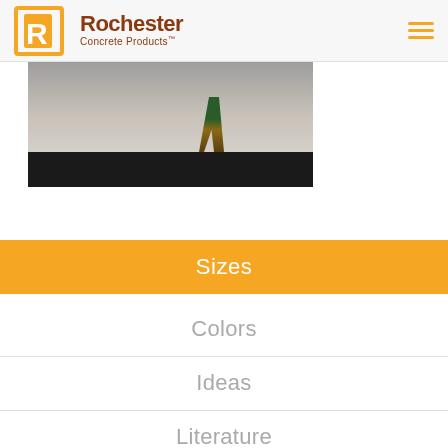Rochester Concrete Products
[Figure (photo): Construction worker legs visible, walking on concrete surface with stone block wall in background. Bottom strip is black (video player bar).]
Sizes
Colors
Ideas
Literature